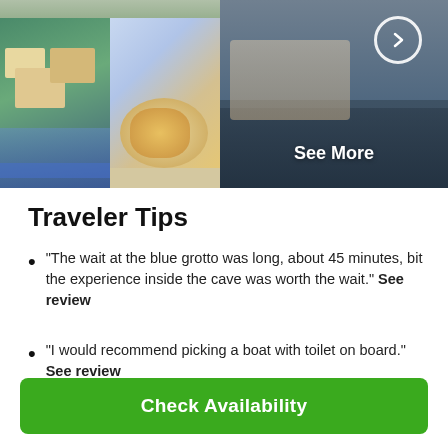[Figure (photo): Grid of travel photos: top strip of beach scene, two smaller photos (coastal town with colorful buildings, pasta dish on blue table), and a large right photo of a cliffside Italian town with 'See More' overlay]
Traveler Tips
"The wait at the blue grotto was long, about 45 minutes, bit the experience inside the cave was worth the wait." See review
"I would recommend picking a boat with toilet on board." See review
"Highly recommend this tour and if you can request Giovanni, do it!" See review
Check Availability